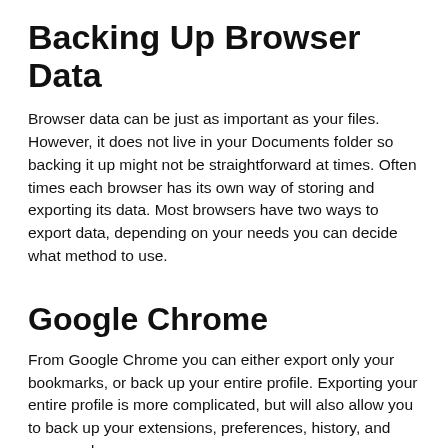Backing Up Browser Data
Browser data can be just as important as your files. However, it does not live in your Documents folder so backing it up might not be straightforward at times. Often times each browser has its own way of storing and exporting its data. Most browsers have two ways to export data, depending on your needs you can decide what method to use.
Google Chrome
From Google Chrome you can either export only your bookmarks, or back up your entire profile. Exporting your entire profile is more complicated, but will also allow you to back up your extensions, preferences, history, and passwords.
The easiest and safest way to back up your Chrome data is to sign in to Chrome.